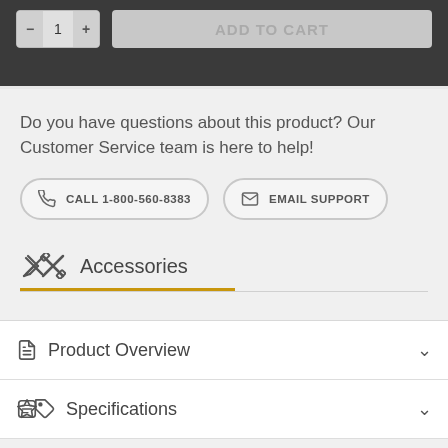[Figure (screenshot): Top dark bar with quantity selector (minus, 1, plus) and ADD TO CART button]
Do you have questions about this product? Our Customer Service team is here to help!
CALL 1-800-560-8383
EMAIL SUPPORT
Accessories
Product Overview
Specifications